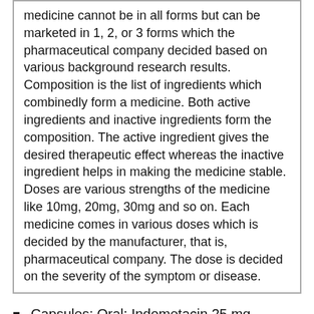medicine cannot be in all forms but can be marketed in 1, 2, or 3 forms which the pharmaceutical company decided based on various background research results. Composition is the list of ingredients which combinedly form a medicine. Both active ingredients and inactive ingredients form the composition. The active ingredient gives the desired therapeutic effect whereas the inactive ingredient helps in making the medicine stable. Doses are various strengths of the medicine like 10mg, 20mg, 30mg and so on. Each medicine comes in various doses which is decided by the manufacturer, that is, pharmaceutical company. The dose is decided on the severity of the symptom or disease.
Capsules; Oral; Indometacin 25 mg
Capsules; Oral; Indometacin 50 mg
Gel; Topical; Indometacin
Suppositories; Rectal; Indometacin 100 mg
Suppositories; Rectal; Indometacin 50 mg